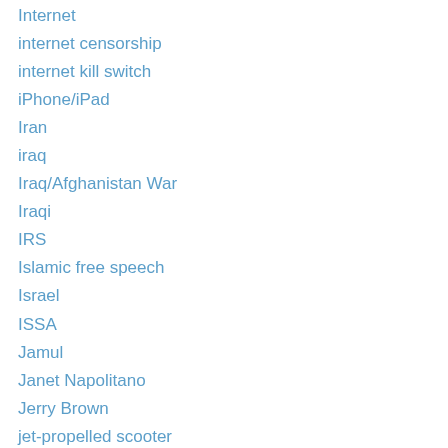Internet
internet censorship
internet kill switch
iPhone/iPad
Iran
iraq
Iraq/Afghanistan War
Iraqi
IRS
Islamic free speech
Israel
ISSA
Jamul
Janet Napolitano
Jerry Brown
jet-propelled scooter
JFK
jobs
jobs bill
jobs for vets